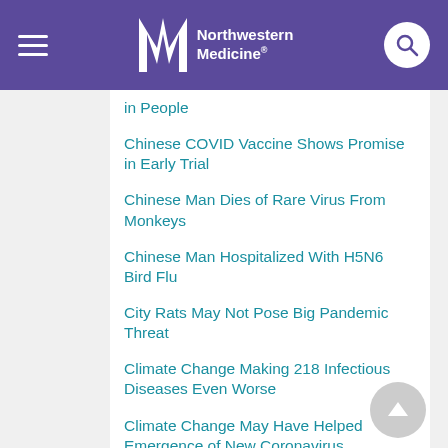Northwestern Medicine
in People
Chinese COVID Vaccine Shows Promise in Early Trial
Chinese Man Dies of Rare Virus From Monkeys
Chinese Man Hospitalized With H5N6 Bird Flu
City Rats May Not Pose Big Pandemic Threat
Climate Change Making 218 Infectious Diseases Even Worse
Climate Change May Have Helped Emergence of New Coronavirus
Climate Change Will Make Pandemics Like COVID More Likely: Report
Clues to Rare Disorder Affecting Kids With